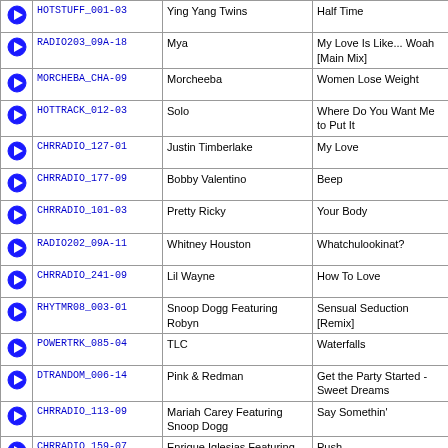|  | Code | Artist | Title |
| --- | --- | --- | --- |
| ▶ | HOTSTUFF_001-03 | Ying Yang Twins | Half Time |
| ▶ | RADIO203_09A-18 | Mya | My Love Is Like... Woah [Main Mix] |
| ▶ | MORCHEBA_CHA-09 | Morcheeba | Women Lose Weight |
| ▶ | HOTTRACK_012-03 | Solo | Where Do You Want Me to Put It |
| ▶ | CHRRADIO_127-01 | Justin Timberlake | My Love |
| ▶ | CHRRADIO_177-09 | Bobby Valentino | Beep |
| ▶ | CHRRADIO_101-03 | Pretty Ricky | Your Body |
| ▶ | RADIO202_09A-11 | Whitney Houston | Whatchulookinat? |
| ▶ | CHRRADIO_241-09 | Lil Wayne | How To Love |
| ▶ | RHYTMR08_003-01 | Snoop Dogg Featuring Robyn | Sensual Seduction [Remix] |
| ▶ | POWERTRK_085-04 | TLC | Waterfalls |
| ▶ | DTRANDOM_006-14 | Pink & Redman | Get the Party Started - Sweet Dreams |
| ▶ | CHRRADIO_113-09 | Mariah Carey Featuring Snoop Dogg | Say Somethin' |
| ▶ | CHRRADIO_159-07 | Enrique Iglesias Featuring Lil Wayne | Push |
| ▶ | HOTTRACK_013-04 | Immature | We Got It |
| ▶ | DEFJAM____G1C-15 | Redman & Method Man | How High [Remix] |
| ▶ | RADIO099_09B-16 | Destiny's Child | Bug-A-Boo |
| ▶ | CHRRADIO_243-11 | Estelle Featuring Rick Ross | Break My Heart |
| ▶ | CHRRADIO_243-09 | Musiq | Yes |